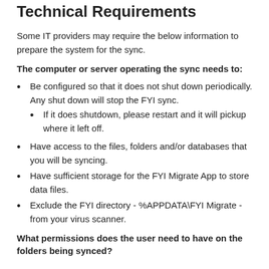Technical Requirements
Some IT providers may require the below information to prepare the system for the sync.
The computer or server operating the sync needs to:
Be configured so that it does not shut down periodically. Any shut down will stop the FYI sync.
If it does shutdown, please restart and it will pickup where it left off.
Have access to the files, folders and/or databases that you will be syncing.
Have sufficient storage for the FYI Migrate App to store data files.
Exclude the FYI directory - %APPDATA\FYI Migrate - from your virus scanner.
What permissions does the user need to have on the folders being synced?